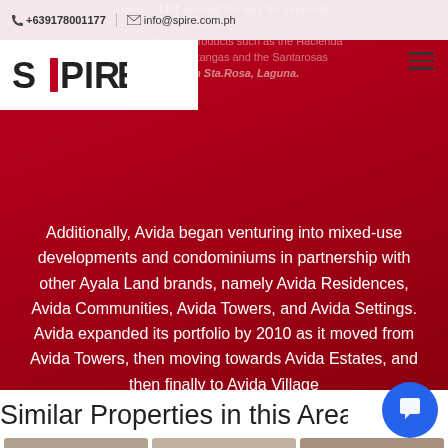+639178001177 | info@spire.com.ph
[Figure (logo): SPIRE logo with red column between S and P]
industry. LRT proved the way for property Filipinos as it started with early products such as the Hacienda and Ayala in Batangas and the Santarosas Estates in Sta.Rosa, Laguna.
Additionally, Avida began venturing into mixed-use developments and condominiums in partnership with other Ayala Land brands, namely Avida Residences, Avida Communities, Avida Towers, and Avida Settings. Avida expanded its portfolio by 2010 as it moved from Avida Towers, then moving towards Avida Estates, and then finally to Avida Village
Hey! If you need any assistance, I'm always here.
Similar Properties in this Area